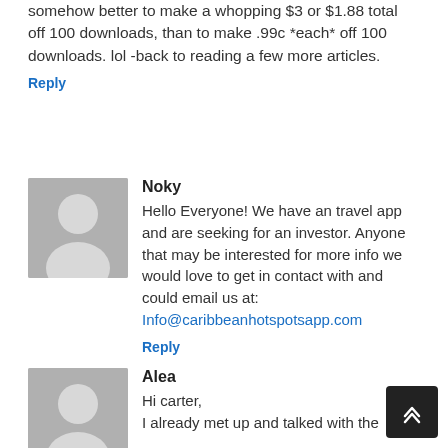somehow better to make a whopping $3 or $1.88 total off 100 downloads, than to make .99c *each* off 100 downloads. lol -back to reading a few more articles.
Reply
Noky
Hello Everyone! We have an travel app and are seeking for an investor. Anyone that may be interested for more info we would love to get in contact with and could email us at: Info@caribbeanhotspotsapp.com
Reply
Alea
Hi carter, I already met up and talked with the